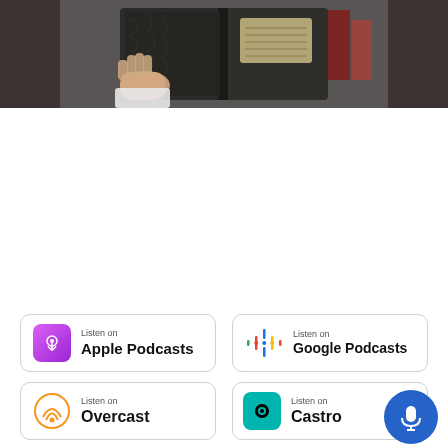[Figure (photo): A person holding open a black composition notebook/journal, photographed in dark cinematic style]
[Figure (infographic): Podcast platform badge: Listen on Apple Podcasts]
[Figure (infographic): Podcast platform badge: Listen on Google Podcasts]
[Figure (infographic): Podcast platform badge: Listen on Overcast]
[Figure (infographic): Podcast platform badge: Listen on Castro]
[Figure (infographic): Podcast platform badge: Listen on Stitcher (partially visible)]
[Figure (infographic): Podcast platform badge: Listen on iHeartRadio (partially visible)]